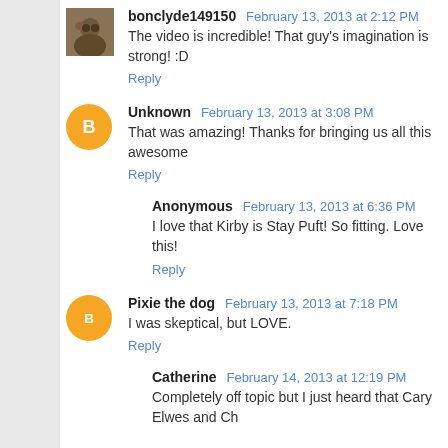bonclyde149150 February 13, 2013 at 2:12 PM
The video is incredible! That guy's imagination is strong! :D
Reply
Unknown February 13, 2013 at 3:08 PM
That was amazing! Thanks for bringing us all this awesome
Reply
Anonymous February 13, 2013 at 6:36 PM
I love that Kirby is Stay Puft! So fitting. Love this!
Reply
Pixie the dog February 13, 2013 at 7:18 PM
I was skeptical, but LOVE.
Reply
Catherine February 14, 2013 at 12:19 PM
Completely off topic but I just heard that Cary Elwes and Ch